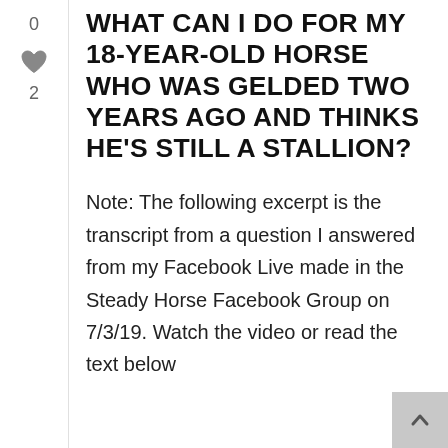WHAT CAN I DO FOR MY 18-YEAR-OLD HORSE WHO WAS GELDED TWO YEARS AGO AND THINKS HE'S STILL A STALLION?
Note: The following excerpt is the transcript from a question I answered from my Facebook Live made in the Steady Horse Facebook Group on 7/3/19. Watch the video or read the text below